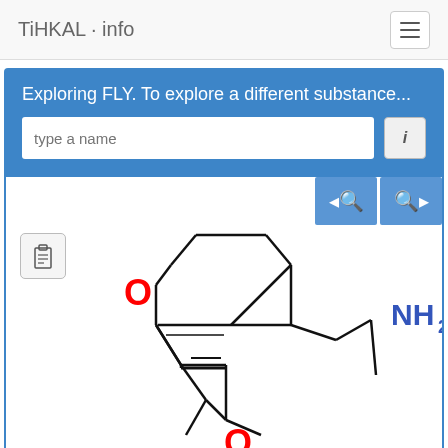TiHKAL · info
Exploring FLY. To explore a different substance...
[Figure (schematic): Chemical structure diagram of FLY compound showing a bicyclic ring system with two oxygen atoms (O) in red, an NH2 group in blue, and associated carbon skeleton with methylenedioxy bridges.]